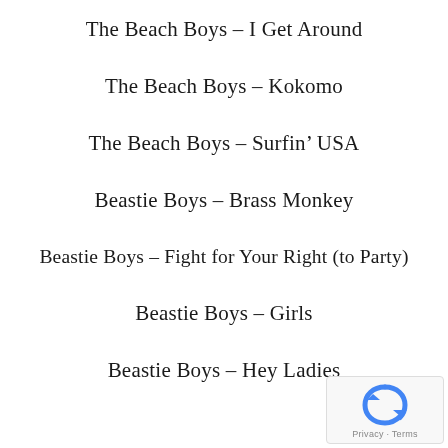The Beach Boys – I Get Around
The Beach Boys – Kokomo
The Beach Boys – Surfin' USA
Beastie Boys – Brass Monkey
Beastie Boys – Fight for Your Right (to Party)
Beastie Boys – Girls
Beastie Boys – Hey Ladies